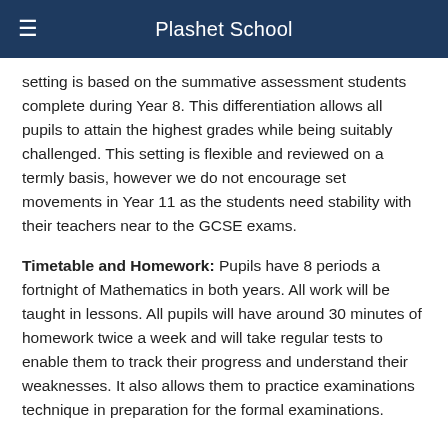Plashet School
setting is based on the summative assessment students complete during Year 8. This differentiation allows all pupils to attain the highest grades while being suitably challenged. This setting is flexible and reviewed on a termly basis, however we do not encourage set movements in Year 11 as the students need stability with their teachers near to the GCSE exams.
Timetable and Homework: Pupils have 8 periods a fortnight of Mathematics in both years. All work will be taught in lessons. All pupils will have around 30 minutes of homework twice a week and will take regular tests to enable them to track their progress and understand their weaknesses. It also allows them to practice examinations technique in preparation for the formal examinations.